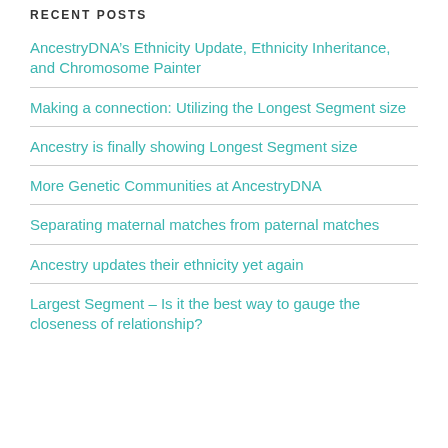RECENT POSTS
AncestryDNA’s Ethnicity Update, Ethnicity Inheritance, and Chromosome Painter
Making a connection: Utilizing the Longest Segment size
Ancestry is finally showing Longest Segment size
More Genetic Communities at AncestryDNA
Separating maternal matches from paternal matches
Ancestry updates their ethnicity yet again
Largest Segment – Is it the best way to gauge the closeness of relationship?